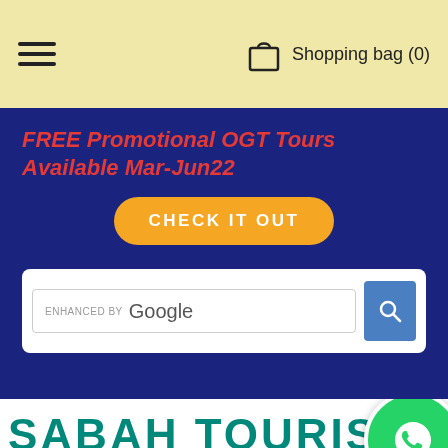Shopping bag (0)
FREE Promotional OGT Tours Available Mar-Jun22
CHECK IT OUT
[Figure (screenshot): Google enhanced search bar with search button]
SABAH TOURIST